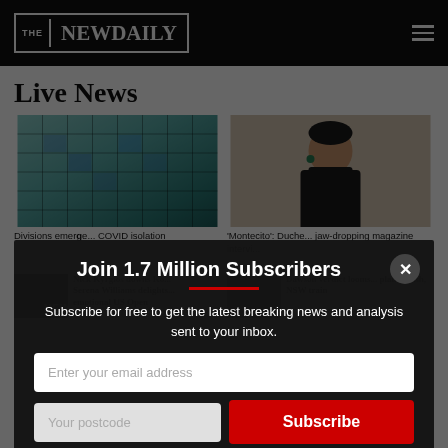THE NEWDAILY
Live News
[Figure (photo): Glass facade of a curved modern office building with blue-green reflective windows]
Divisions emerge... COVID isolation
[Figure (photo): Woman in black sleeveless turtleneck top, hair pulled back, looking to side]
'Montecito': Duche... jaw-dropping magazine interview
[Figure (photo): Dark image with NEWS text, bottom article thumbnail]
Nick Kyrgios downs Ko... Serena Williams delights... emotional US Open
Dawson verdict looms... plane crash, NSW train
Join 1.7 Million Subscribers
Subscribe for free to get the latest breaking news and analysis sent to your inbox.
Enter your email address
Your postcode
Subscribe